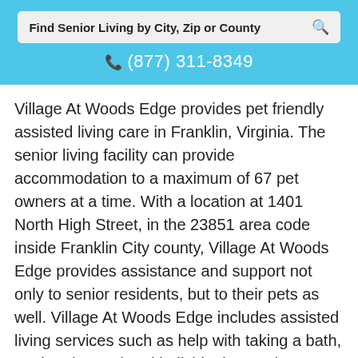[Figure (screenshot): Search bar with text 'Find Senior Living by City, Zip or County' and a search icon on the right, on a light gray background]
☎ (877) 311-8349
Village At Woods Edge provides pet friendly assisted living care in Franklin, Virginia. The senior living facility can provide accommodation to a maximum of 67 pet owners at a time. With a location at 1401 North High Street, in the 23851 area code inside Franklin City county, Village At Woods Edge provides assistance and support not only to senior residents, but to their pets as well. Village At Woods Edge includes assisted living services such as help with taking a bath, getting dressed and individual care plans.
(877) 311-8349